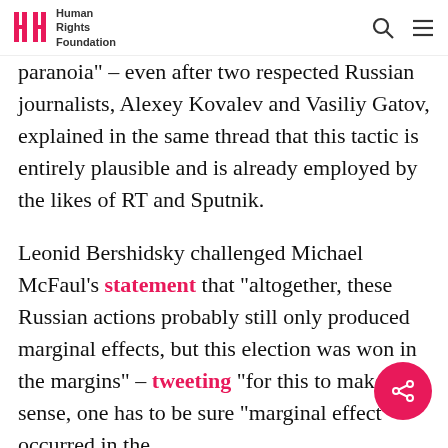Human Rights Foundation
paranoia" – even after two respected Russian journalists, Alexey Kovalev and Vasiliy Gatov, explained in the same thread that this tactic is entirely plausible and is already employed by the likes of RT and Sputnik.
Leonid Bershidsky challenged Michael McFaul's statement that "altogether, these Russian actions probably still only produced marginal effects, but this election was won in the margins" – tweeting "for this to make sense, one has to be sure "marginal effect" occurred in the